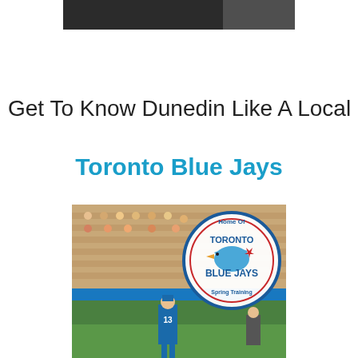[Figure (photo): Partial photo at top of page, cropped — appears to show a person, mostly cut off, dark background]
Get To Know Dunedin Like A Local
Toronto Blue Jays
[Figure (photo): Toronto Blue Jays Spring Training baseball game photo. A player wearing jersey number 13 stands at the dugout. In the upper right is a large circular logo reading 'Home Of Toronto Blue Jays Spring Training'. The stands are filled with spectators.]